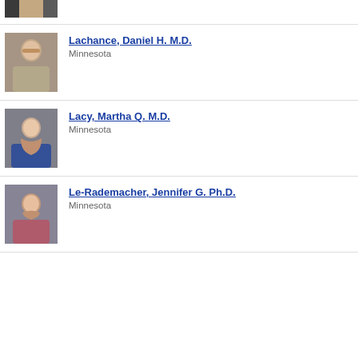[Figure (photo): Partial photo of a person at top of page]
Lachance, Daniel H. M.D. — Minnesota
Lacy, Martha Q. M.D. — Minnesota
Le-Rademacher, Jennifer G. Ph.D. — Minnesota